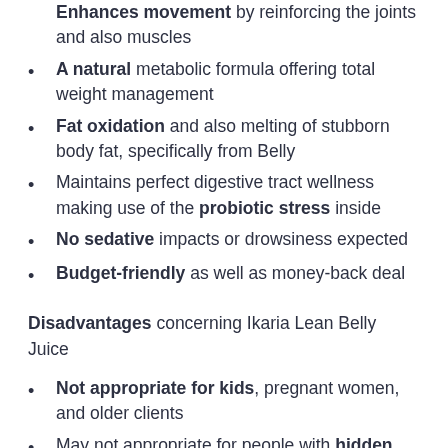Enhances movement by reinforcing the joints and also muscles
A natural metabolic formula offering total weight management
Fat oxidation and also melting of stubborn body fat, specifically from Belly
Maintains perfect digestive tract wellness making use of the probiotic stress inside
No sedative impacts or drowsiness expected
Budget-friendly as well as money-back deal
Disadvantages concerning Ikaria Lean Belly Juice
Not appropriate for kids, pregnant women, and older clients
May not appropriate for people with hidden illness